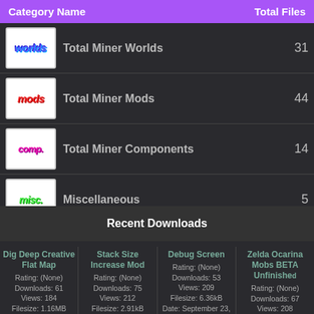| Category Name | Total Files |
| --- | --- |
| Total Miner Worlds | 31 |
| Total Miner Mods | 44 |
| Total Miner Components | 14 |
| Miscellaneous | 5 |
Recent Downloads
Dig Deep Creative Flat Map
Rating: (None)
Downloads: 61
Views: 184
Filesize: 1.16MB
Date:
Stack Size Increase Mod
Rating: (None)
Downloads: 75
Views: 212
Filesize: 2.91kB
Date: October 14, 2021
Debug Screen
Rating: (None)
Downloads: 53
Views: 209
Filesize: 6.36kB
Date: September 23,
Zelda Ocarina Mobs BETA Unfinished
Rating: (None)
Downloads: 67
Views: 208
Filesize: